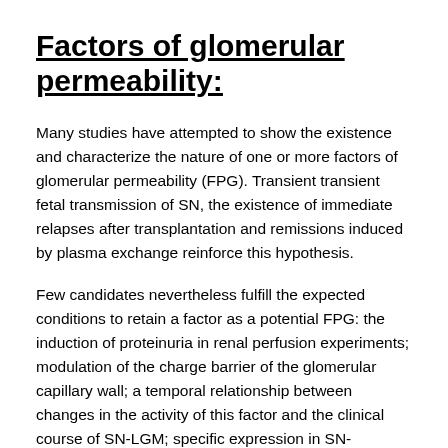Factors of glomerular permeability:
Many studies have attempted to show the existence and characterize the nature of one or more factors of glomerular permeability (FPG). Transient transient fetal transmission of SN, the existence of immediate relapses after transplantation and remissions induced by plasma exchange reinforce this hypothesis.
Few candidates nevertheless fulfill the expected conditions to retain a factor as a potential FPG: the induction of proteinuria in renal perfusion experiments; modulation of the charge barrier of the glomerular capillary wall; a temporal relationship between changes in the activity of this factor and the clinical course of SN-LGM; specific expression in SN-